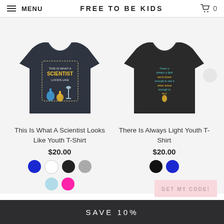MENU  FREE TO BE KIDS  0
[Figure (photo): Dark navy youth t-shirt with 'This Is What A Scientist Looks Like' graphic and chemistry equipment illustration]
[Figure (photo): Dark charcoal youth t-shirt with 'There Is Always Light' inspirational quote in teal and gold lettering]
This Is What A Scientist Looks Like Youth T-Shirt
There Is Always Light Youth T-Shirt
$20.00
$20.00
Color swatches: blue, white, black, gray, light blue, pink
Color swatches: black, blue
SAVE 10%